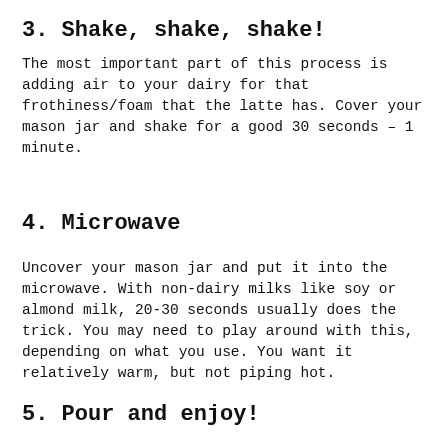3. Shake, shake, shake!
The most important part of this process is adding air to your dairy for that frothiness/foam that the latte has. Cover your mason jar and shake for a good 30 seconds – 1 minute.
4. Microwave
Uncover your mason jar and put it into the microwave. With non-dairy milks like soy or almond milk, 20-30 seconds usually does the trick. You may need to play around with this, depending on what you use. You want it relatively warm, but not piping hot.
5. Pour and enjoy!